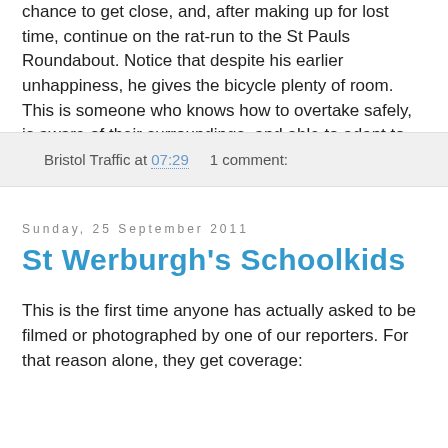chance to get close, and, after making up for lost time, continue on the rat-run to the St Pauls Roundabout. Notice that despite his earlier unhappiness, he gives the bicycle plenty of room. This is someone who knows how to overtake safely, is aware of their surroundings, and able to adapt to them.
Bristol Traffic at 07:29    1 comment:
Sunday, 25 September 2011
St Werburgh's Schoolkids
This is the first time anyone has actually asked to be filmed or photographed by one of our reporters. For that reason alone, they get coverage: